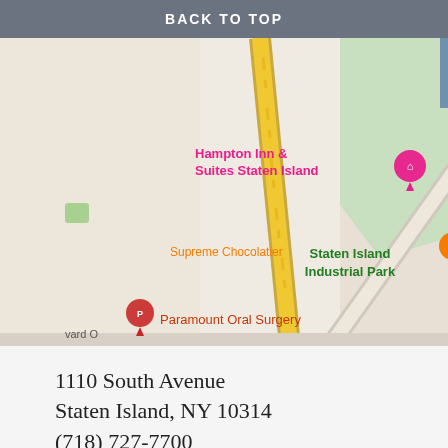BACK TO TOP
[Figure (map): Google Maps screenshot showing the area around 1110 South Avenue, Staten Island, NY. Visible landmarks include Hampton Inn & Suites Staten Island, Supreme Chocolatier, Paramount Oral Surgery, Staten Island Industrial Park, and Law Offices of (partially visible). Roads shown include Lois Ln and South Ave.]
1110 South Avenue
Staten Island, NY 10314
(718) 727-7700
info@lawsiny.com
Fax: (718) 727-6498
Text: (929) 224-2049
M-F, 9am-5pm